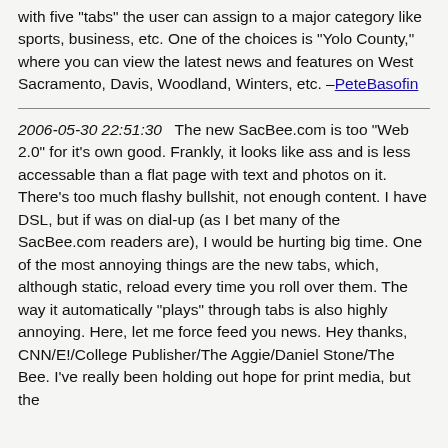with five "tabs" the user can assign to a major category like sports, business, etc. One of the choices is "Yolo County," where you can view the latest news and features on West Sacramento, Davis, Woodland, Winters, etc. –PeteBasofin
2006-05-30 22:51:30   The new SacBee.com is too "Web 2.0" for it's own good. Frankly, it looks like ass and is less accessable than a flat page with text and photos on it. There's too much flashy bullshit, not enough content. I have DSL, but if was on dial-up (as I bet many of the SacBee.com readers are), I would be hurting big time. One of the most annoying things are the new tabs, which, although static, reload every time you roll over them. The way it automatically "plays" through tabs is also highly annoying. Here, let me force feed you news. Hey thanks, CNN/E!/College Publisher/The Aggie/Daniel Stone/The Bee. I've really been holding out hope for print media, but the